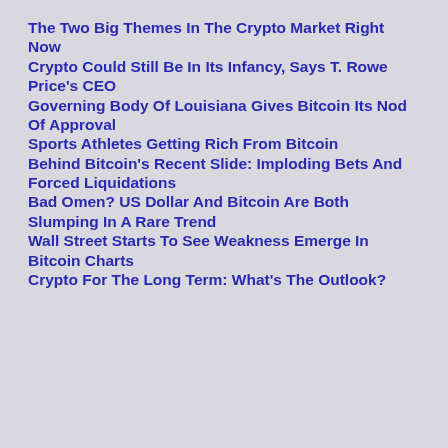The Two Big Themes In The Crypto Market Right Now
Crypto Could Still Be In Its Infancy, Says T. Rowe Price’s CEO
Governing Body Of Louisiana Gives Bitcoin Its Nod Of Approval
Sports Athletes Getting Rich From Bitcoin
Behind Bitcoin’s Recent Slide: Imploding Bets And Forced Liquidations
Bad Omen? US Dollar And Bitcoin Are Both Slumping In A Rare Trend
Wall Street Starts To See Weakness Emerge In Bitcoin Charts
Crypto For The Long Term: What’s The Outlook?